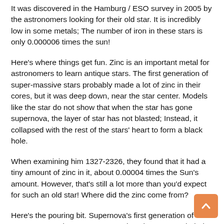It was discovered in the Hamburg / ESO survey in 2005 by the astronomers looking for their old star. It is incredibly low in some metals; The number of iron in these stars is only 0.000006 times the sun!
Here's where things get fun. Zinc is an important metal for astronomers to learn antique stars. The first generation of super-massive stars probably made a lot of zinc in their cores, but it was deep down, near the star center. Models like the star do not show that when the star has gone supernova, the layer of star has not blasted; Instead, it collapsed with the rest of the stars' heart to form a black hole.
When examining him 1327-2326, they found that it had a tiny amount of zinc in it, about 0.00004 times the Sun's amount. However, that's still a lot more than you'd expect for such an old star! Where did the zinc come from?
Here's the pouring bit. Supernova's first generation of superstars made a great assumption: the stars exploded symmetrically; That is, the debris flew off as an expanding sphere. One reason